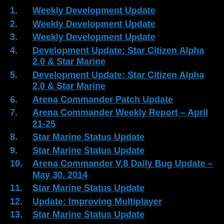1. Weekly Development Update
2. Weekly Development Update
3. Weekly Development Update
4. Development Update: Star Citizen Alpha 2.0 & Star Marine
5. Development Update: Star Citizen Alpha 2.0 & Star Marine
6. Arena Commander Patch Update
7. Arena Commander Weekly Report – April 21-25
8. Star Marine Status Update
9. Star Marine Status Update
10. Arena Commander V.8 Daily Bug Update – May 30, 2014
11. Star Marine Status Update
12. Update: Improving Multiplayer
13. Star Marine Status Update
14. Arena Commander V.9 Status Update
15. Star Marine Status Update
16. [KS Update] Afternoon Update – October 9th 2013